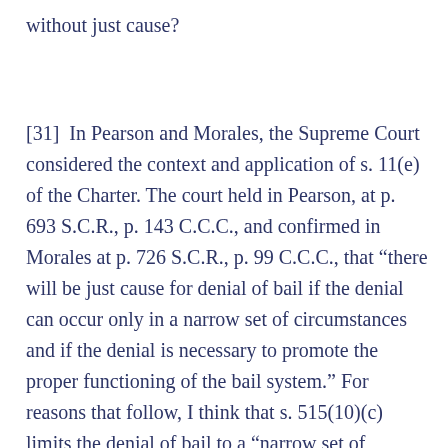without just cause?
[31]  In Pearson and Morales, the Supreme Court considered the context and application of s. 11(e) of the Charter. The court held in Pearson, at p. 693 S.C.R., p. 143 C.C.C., and confirmed in Morales at p. 726 S.C.R., p. 99 C.C.C., that “there will be just cause for denial of bail if the denial can occur only in a narrow set of circumstances and if the denial is necessary to promote the proper functioning of the bail system.” For reasons that follow, I think that s. 515(10)(c) limits the denial of bail to a “narrow set of circumstances” and provides for the denial of bail for a purpose related to the proper functioning of the bail system. Accordingly, in my opinion, Gonuta J. did not err in